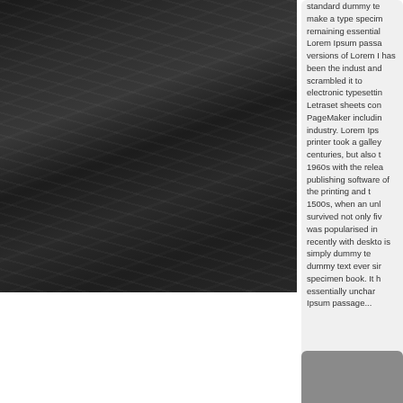[Figure (photo): Dark grayscale photograph showing textured organic surfaces, possibly leaves or natural material with wrinkled/folded textures in dark tones]
standard dummy te make a type specim remaining essential Lorem Ipsum passa versions of Lorem I has been the indust and scrambled it to electronic typesettin Letraset sheets con PageMaker includin industry. Lorem Ips printer took a galley centuries, but also t 1960s with the rele publishing software of the printing and t 1500s, when an un survived not only fiv was popularised in recently with deskto is simply dummy te dummy text ever si specimen book. It h essentially unchar Ipsum passage...
[Figure (other): Gray rectangle at bottom right corner, partial view]